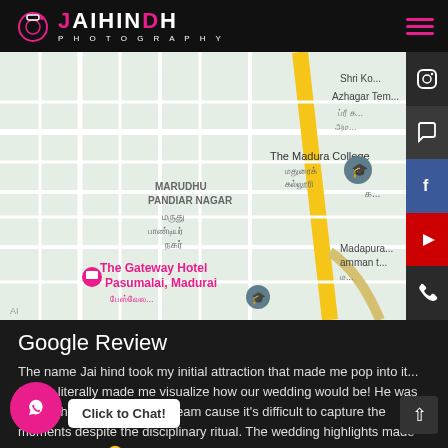[Figure (logo): Jai Hindh Photography logo — camera icon with stylized text, pink accent color]
[Figure (map): Google Maps screenshot showing Marudhu Pandiar Nagar area in Madurai, Tamil Nadu. Shows The Gateway Hotel Pasumalai Madurai marked in pink, The Madura College, and other landmarks. A yellow road runs diagonally.]
Google Review
The name Jai hind took my initial attraction that made me pop into it... Satish literally made me visualize how our wedding would be! He was [...]days. Thanks to the whole team cause it's difficult to capture the moments despite the disciplinary ritual. The wedding highlights made us go bananas 😊 Thanks to the whole